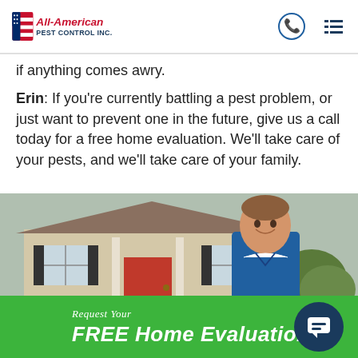[Figure (logo): All-American Pest Control Inc. logo with red A and blue flag design]
if anything comes awry.
Erin: If you're currently battling a pest problem, or just want to prevent one in the future, give us a call today for a free home evaluation. We'll take care of your pests, and we'll take care of your family.
[Figure (photo): Smiling man in blue polo shirt standing in front of a house]
Request Your FREE Home Evaluation